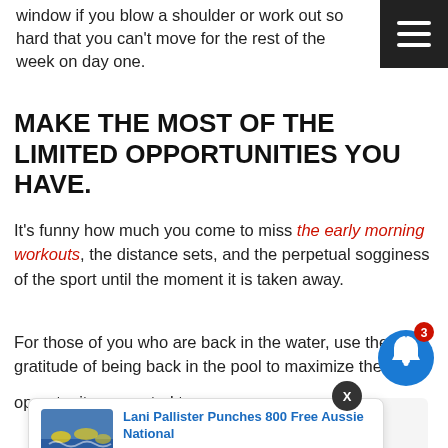window if you blow a shoulder or work out so hard that you can't move for the rest of the week on day one.
MAKE THE MOST OF THE LIMITED OPPORTUNITIES YOU HAVE.
It's funny how much you come to miss the early morning workouts, the distance sets, and the perpetual sogginess of the sport until the moment it is taken away.
For those of you who are back in the water, use the gratitude of being back in the pool to maximize the opportunity presented to you.
[Figure (screenshot): Navigation menu button (hamburger icon) in dark background, top right corner]
[Figure (screenshot): Notification bell icon with badge showing 3 notifications, blue circle]
[Figure (screenshot): Notification popup card: Lani Pallister Punches 800 Free Aussie National, 21 hours ago, with swimming photo thumbnail]
[Figure (screenshot): Red 'Got it' button for cookie consent, with cookie notice text below]